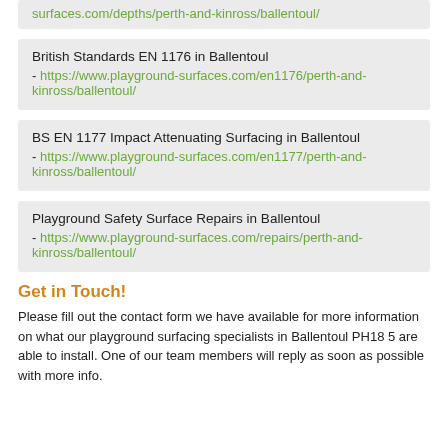surfaces.com/depths/perth-and-kinross/ballentoul/
British Standards EN 1176 in Ballentoul
- https://www.playground-surfaces.com/en1176/perth-and-kinross/ballentoul/
BS EN 1177 Impact Attenuating Surfacing in Ballentoul
- https://www.playground-surfaces.com/en1177/perth-and-kinross/ballentoul/
Playground Safety Surface Repairs in Ballentoul
- https://www.playground-surfaces.com/repairs/perth-and-kinross/ballentoul/
Get in Touch!
Please fill out the contact form we have available for more information on what our playground surfacing specialists in Ballentoul PH18 5 are able to install. One of our team members will reply as soon as possible with more info.